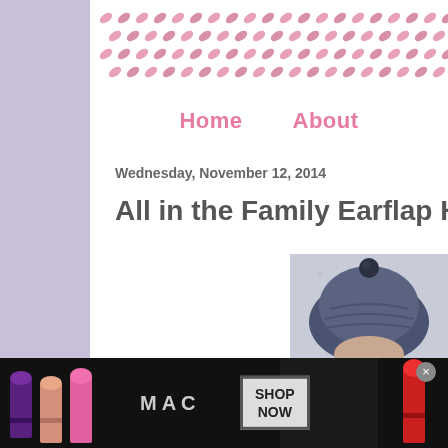[Figure (illustration): Pink leaf/petal repeating pattern banner at top of blog page]
Home    About
Wednesday, November 12, 2014
All in the Family Earflap H
[Figure (photo): Child wearing a dark blue/grey knit earflap hat with pom-pom]
[Figure (infographic): MAC cosmetics advertisement banner with lipsticks and SHOP NOW button]